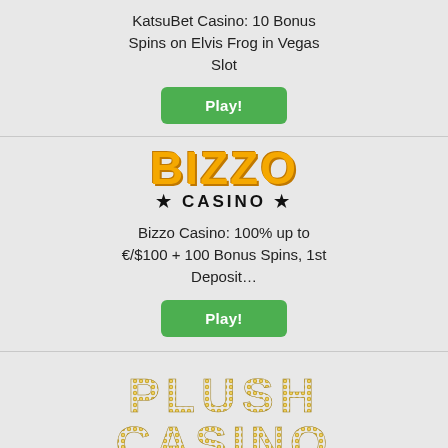KatsuBet Casino: 10 Bonus Spins on Elvis Frog in Vegas Slot
Play!
[Figure (logo): Bizzo Casino logo with orange bold BIZZO text and star CASINO star below in black]
Bizzo Casino: 100% up to €/$100 + 100 Bonus Spins, 1st Deposit…
Play!
[Figure (logo): Plush Casino logo with dotted/ornate gold lettering PLUSH CASINO]
Plush Casino: 100% up to £100 + 100 Bonus Spins on…
Play!